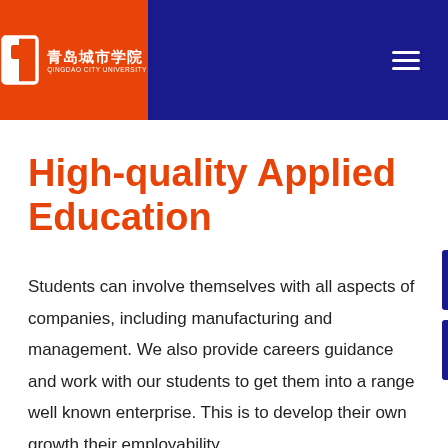青岛城市学院 QINGDAO CITY UNIVERSITY
High-quality Applied Education
Students can involve themselves with all aspects of companies, including manufacturing and management. We also provide careers guidance and work with our students to get them into a range well known enterprise. This is to develop their own growth their employability...